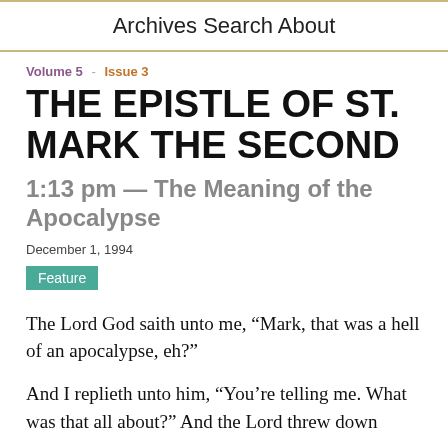Archives   Search   About
Volume 5  -  Issue 3
THE EPISTLE OF ST. MARK THE SECOND
1:13 pm — The Meaning of the Apocalypse
December 1, 1994
Feature
The Lord God saith unto me, “Mark, that was a hell of an apocalypse, eh?”
And I replieth unto him, “You’re telling me. What was that all about?” And the Lord threw down